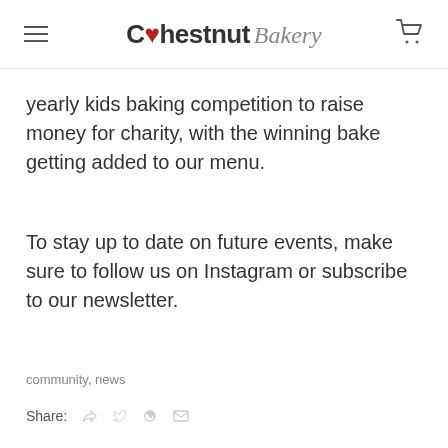Chestnut Bakery
yearly kids baking competition to raise money for charity, with the winning bake getting added to our menu.
To stay up to date on future events, make sure to follow us on Instagram or subscribe to our newsletter.
community, news
Share: